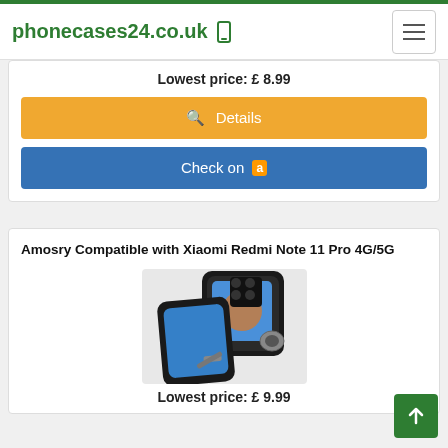phonecases24.co.uk
Lowest price: £ 8.99
Details
Check on Amazon
Amosry Compatible with Xiaomi Redmi Note 11 Pro 4G/5G
[Figure (photo): Black rugged phone case with ring stand for Xiaomi Redmi Note 11 Pro 4G/5G]
Lowest price: £ 9.99